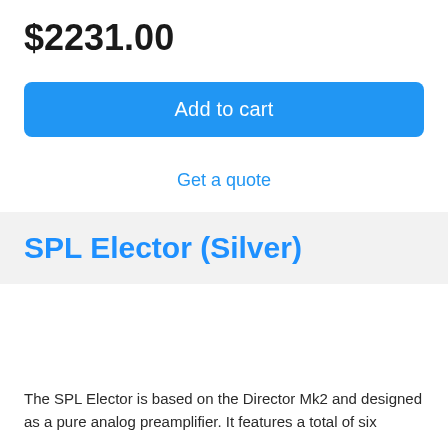$2231.00
Add to cart
Get a quote
SPL Elector (Silver)
The SPL Elector is based on the Director Mk2 and designed as a pure analog preamplifier. It features a total of six